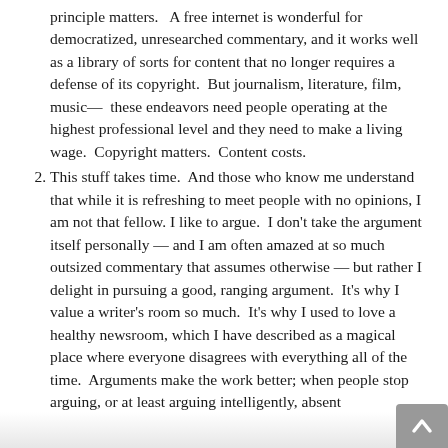principle matters.   A free internet is wonderful for democratized, unresearched commentary, and it works well as a library of sorts for content that no longer requires a defense of its copyright.  But journalism, literature, film, music—  these endeavors need people operating at the highest professional level and they need to make a living wage.  Copyright matters.  Content costs.
This stuff takes time.  And those who know me understand that while it is refreshing to meet people with no opinions, I am not that fellow. I like to argue.  I don't take the argument itself personally — and I am often amazed at so much outsized commentary that assumes otherwise — but rather I delight in pursuing a good, ranging argument.  It's why I value a writer's room so much.  It's why I used to love a healthy newsroom, which I have described as a magical place where everyone disagrees with everything all of the time.  Arguments make the work better; when people stop arguing, or at least arguing intelligently, absent